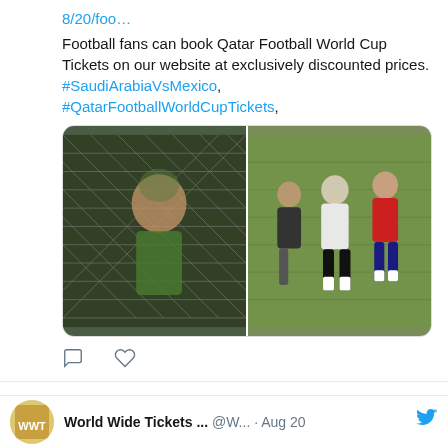8/20/foo…
Football fans can book Qatar Football World Cup Tickets on our website at exclusively discounted prices. #SaudiArabiaVsMexico, #QatarFootballWorldCupTickets,
[Figure (photo): Two side-by-side football/soccer photos: left shows a goalkeeper looking up at a net, right shows players competing on a field.]
Comment and like icons (Twitter engagement actions)
World Wide Tickets ... @W... · Aug 20